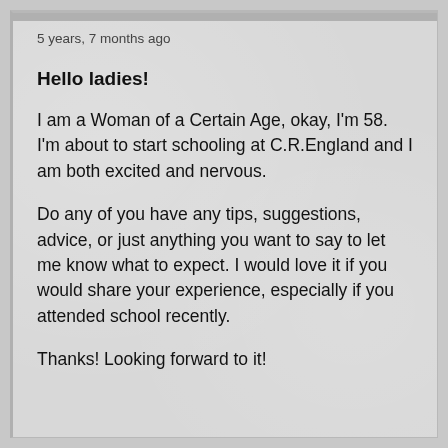5 years, 7 months ago
Hello ladies!
I am a Woman of a Certain Age, okay, I'm 58. I'm about to start schooling at C.R.England and I am both excited and nervous.
Do any of you have any tips, suggestions, advice, or just anything you want to say to let me know what to expect. I would love it if you would share your experience, especially if you attended school recently.
Thanks! Looking forward to it!